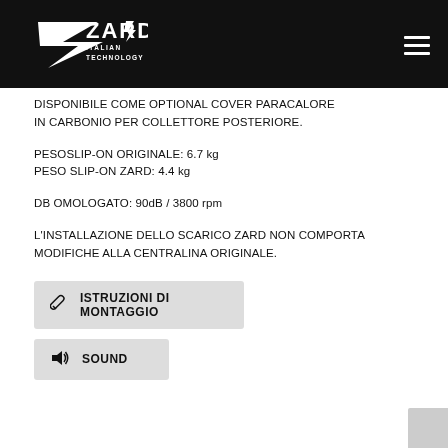[Figure (logo): ZARD Italian Technology logo in white on black background with hamburger menu icon]
DISPONIBILE COME OPTIONAL COVER PARACALORE IN CARBONIO PER COLLETTORE POSTERIORE.
PESOSLIP-ON ORIGINALE: 6.7 kg
PESO SLIP-ON ZARD: 4.4 kg
DB OMOLOGATO: 90dB / 3800 rpm
L'INSTALLAZIONE DELLO SCARICO ZARD NON COMPORTA MODIFICHE ALLA CENTRALINA ORIGINALE.
🔧  ISTRUZIONI DI MONTAGGIO
🔊  SOUND